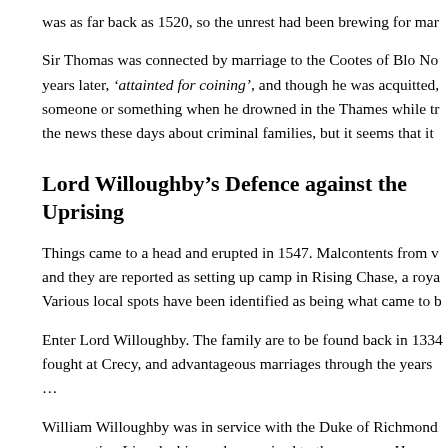was as far back as 1520, so the unrest had been brewing for ma…
Sir Thomas was connected by marriage to the Cootes of Blo No… years later, ‘attainted for coining’, and though he was acquitted, someone or something when he drowned in the Thames while tr… the news these days about criminal families, but it seems that it…
Lord Willoughby’s Defence against the Uprising
Things came to a head and erupted in 1547. Malcontents from v… and they are reported as setting up camp in Rising Chase, a roya… Various local spots have been identified as being what came to b…
Enter Lord Willoughby. The family are to be found back in 1334 fought at Crecy, and advantageous marriages through the years …
William Willoughby was in service with the Duke of Richmond… representing Lincolnshire and was raised to the peerage. He was… Dudley, Earl of Warwick, before the ‘time of rebellion’.